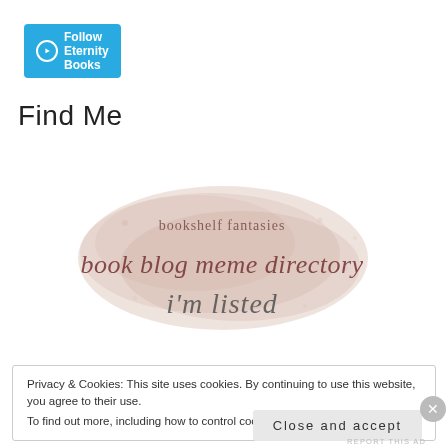[Figure (logo): WordPress Follow button: cyan/teal button with WordPress W icon and text 'Follow Eternity Books']
Find Me
[Figure (illustration): Bookshelf Fantasies book blog meme directory badge with watercolor pink/mauve background. Text reads: 'bookshelf fantasies book blog meme directory i'm listed' in script and serif fonts.]
Privacy & Cookies: This site uses cookies. By continuing to use this website, you agree to their use.
To find out more, including how to control cookies, see here: Cookie Policy
[Figure (other): Close and accept button (light gray rounded rectangle button)]